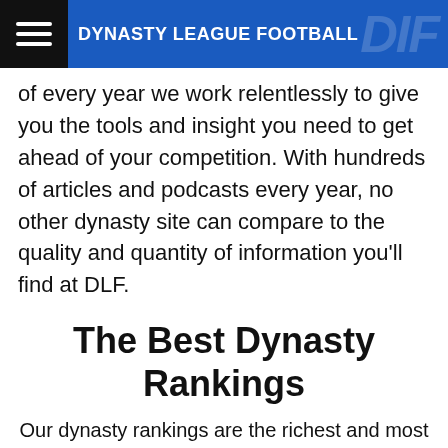DYNASTY LEAGUE FOOTBALL
of every year we work relentlessly to give you the tools and insight you need to get ahead of your competition. With hundreds of articles and podcasts every year, no other dynasty site can compare to the quality and quantity of information you'll find at DLF.
The Best Dynasty Rankings
Our dynasty rankings are the richest and most full-featured rankings anywhere. Overall Top 250+ Dynasty Rankings, Positional Dynasty Rankings, Rookie Rankings, Superflex Rankings, IDP Rankings, Devy Rankings and our groundbreaking Cornerstone Rankings which combine the young veterans of today